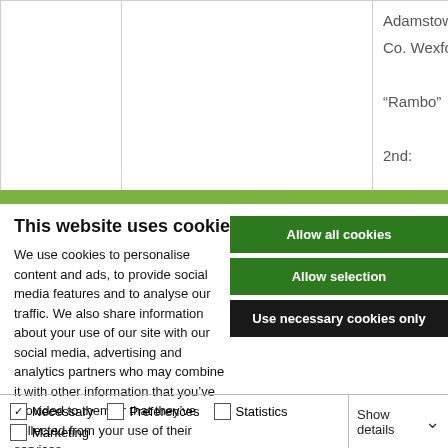|  |  | Adamstown,
Co. Wexford.

“Rambo”

2nd:

3rd: |
This website uses cookies
We use cookies to personalise content and ads, to provide social media features and to analyse our traffic. We also share information about your use of our site with our social media, advertising and analytics partners who may combine it with other information that you’ve provided to them or that they’ve collected from your use of their services.
Allow all cookies
Allow selection
Use necessary cookies only
Necessary  Preferences  Statistics  Marketing  Show details